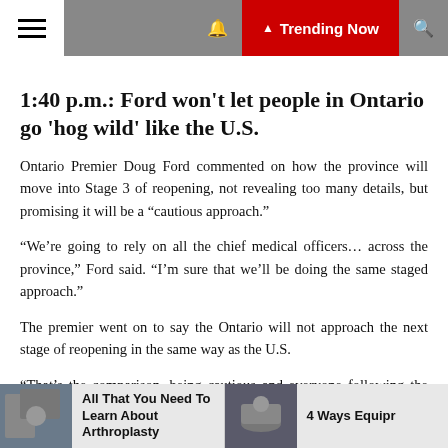Trending Now
1:40 p.m.: Ford won't let people in Ontario go 'hog wild' like the U.S.
Ontario Premier Doug Ford commented on how the province will move into Stage 3 of reopening, not revealing too many details, but promising it will be a “cautious approach.”
“We’re going to rely on all the chief medical officers… across the province,” Ford said. “I’m sure that we’ll be doing the same staged approach.”
The premier went on to say the Ontario will not approach the next stage of reopening in the same way as the U.S.
“That’s the comparison, being cautious and everyone following the protocol…versus the reckless approach, in
All That You Need To Learn About Arthroplasty | 4 Ways Equipr